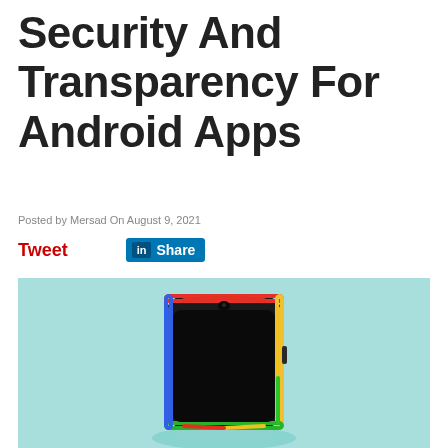Security And Transparency For Android Apps
Posted by Mersad On August 9, 2021
Tweet  Share
[Figure (illustration): Smartphone with colorful RGB border glow (red, yellow, green, blue) placed on a light teal/mint background on a circular pedestal. The phone has a dark/black screen and a teardrop notch.]